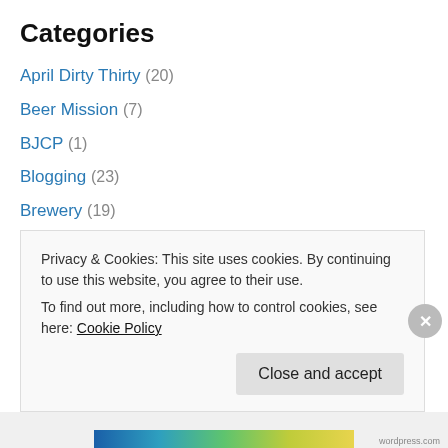Categories
April Dirty Thirty (20)
Beer Mission (7)
BJCP (1)
Blogging (23)
Brewery (19)
Cheers (43)
Cicerone CBS Exam (6)
Conversations with Beer Bloggers (5)
Education (19)
Events (5)
Fun (10)
Privacy & Cookies: This site uses cookies. By continuing to use this website, you agree to their use. To find out more, including how to control cookies, see here: Cookie Policy
Close and accept